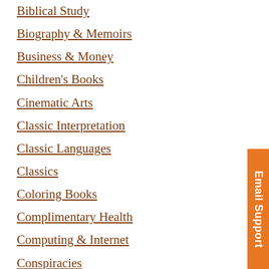Biblical Study
Biography & Memoirs
Business & Money
Children's Books
Cinematic Arts
Classic Interpretation
Classic Languages
Classics
Coloring Books
Complimentary Health
Computing & Internet
Conspiracies
Constitution
Construction Management
Cookbooks
Crafts